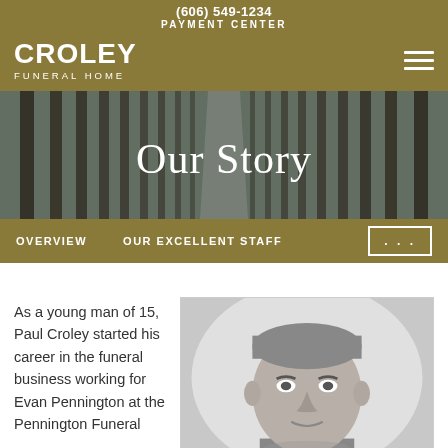(606) 549-1234
PAYMENT CENTER
CROLEY
FUNERAL HOME
[Figure (photo): Hero banner image of a tree-lined forest path with 'Our Story' text overlay]
Our Story
OVERVIEW   OUR EXCELLENT STAFF   ...
As a young man of 15, Paul Croley started his career in the funeral business working for Evan Pennington at the Pennington Funeral
[Figure (photo): Black and white portrait photograph of Paul Croley]